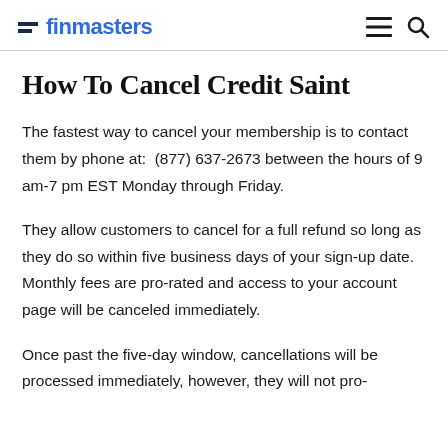finmasters
How To Cancel Credit Saint
The fastest way to cancel your membership is to contact them by phone at:  (877) 637-2673 between the hours of 9 am-7 pm EST Monday through Friday.
They allow customers to cancel for a full refund so long as they do so within five business days of your sign-up date. Monthly fees are pro-rated and access to your account page will be canceled immediately.
Once past the five-day window, cancellations will be processed immediately, however, they will not pro-